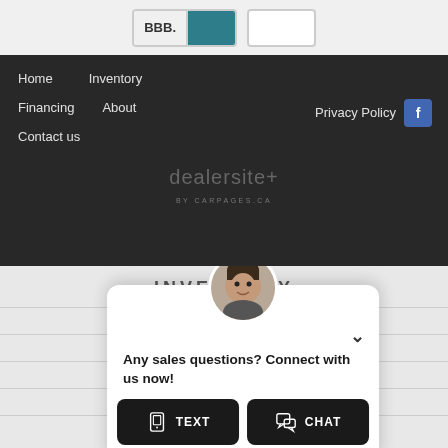[Figure (logo): BBB logo badge with teal background and white empty box]
Home  Inventory  Financing  About  Contact us  Privacy Policy  [Facebook icon]
[Figure (logo): dealersite+ by CARPAGES.CA logo in gray text]
INVENTORY
[Figure (screenshot): Chat widget with avatar, chevron down, message 'Any sales questions? Connect with us now!' and TEXT and CHAT buttons]